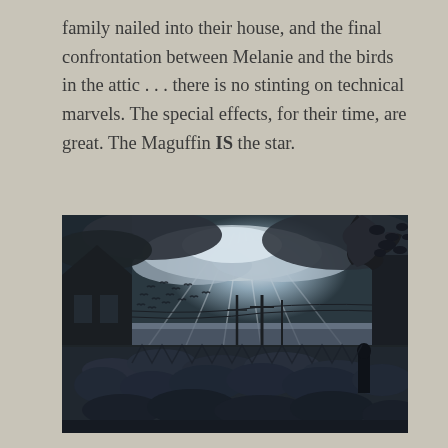family nailed into their house, and the final confrontation between Melanie and the birds in the attic . . . there is no stinting on technical marvels. The special effects, for their time, are great. The Maguffin IS the star.
[Figure (photo): A dark, dramatic black-and-white film still showing a vast flock of birds gathered on the ground and in the sky, with dramatic light rays breaking through storm clouds. Silhouettes of buildings on the left and a lone figure standing on the right. Telegraph poles visible in the middle distance.]